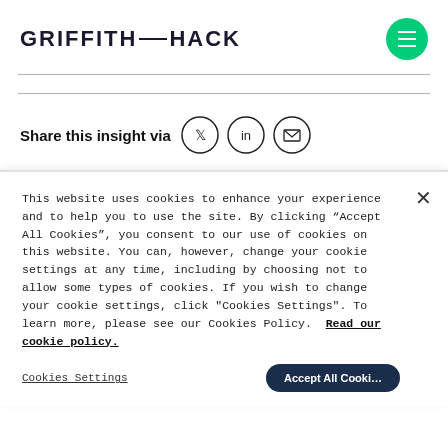GRIFFITH HACK
Share this insight via
This website uses cookies to enhance your experience and to help you to use the site. By clicking “Accept All Cookies”, you consent to our use of cookies on this website. You can, however, change your cookie settings at any time, including by choosing not to allow some types of cookies. If you wish to change your cookie settings, click "Cookies Settings". To learn more, please see our Cookies Policy. Read our cookie policy.
Cookies Settings
Accept All Cookies